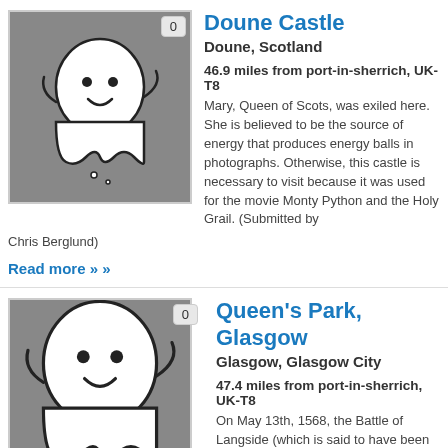[Figure (illustration): Ghost cartoon image on grey background for Doune Castle listing, with badge showing 0]
Doune Castle
Doune, Scotland
46.9 miles from port-in-sherrich, UK-T8
Mary, Queen of Scots, was exiled here. She is believed to be the source of energy that produces energy balls in photographs. Otherwise, this castle is necessary to visit because it was used for the movie Monty Python and the Holy Grail. (Submitted by Chris Berglund)
Read more »
[Figure (illustration): Ghost cartoon image on grey background for Queen's Park Glasgow listing, with badge showing 0]
Queen's Park, Glasgow
Glasgow, Glasgow City
47.4 miles from port-in-sherrich, UK-T8
On May 13th, 1568, the Battle of Langside (which is said to have been the beginning of the Marian civil war) took place here. With about 10,000 soldiers fighting, the casualties ranged at about 300, but many soldiers are